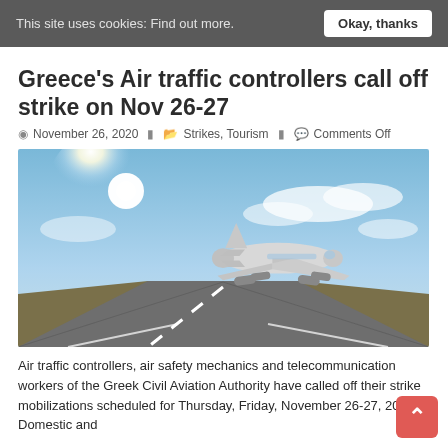This site uses cookies: Find out more. Okay, thanks
Greece’s Air traffic controllers call off strike on Nov 26-27
November 26, 2020   Strikes, Tourism   Comments Off
[Figure (photo): Large passenger airplane taking off from a runway viewed from front, bright sun in blue sky with clouds]
Air traffic controllers, air safety mechanics and telecommunication workers of the Greek Civil Aviation Authority have called off their strike mobilizations scheduled for Thursday, Friday, November 26-27, 2020. Domestic and